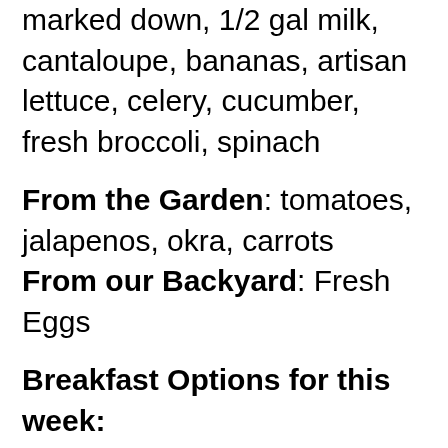marked down, 1/2 gal milk, cantaloupe, bananas, artisan lettuce, celery, cucumber, fresh broccoli, spinach
From the Garden: tomatoes, jalapenos, okra, carrots
From our Backyard: Fresh Eggs
Breakfast Options for this week: